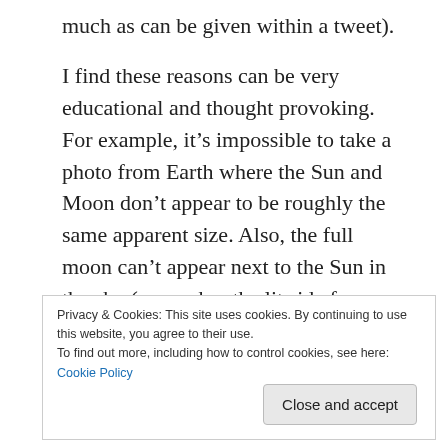much as can be given within a tweet).

I find these reasons can be very educational and thought provoking. For example, it’s impossible to take a photo from Earth where the Sun and Moon don’t appear to be roughly the same apparent size. Also, the full moon can’t appear next to the Sun in the sky (remember the lit side faces the Sun). So “debunking” these fake astronomical images can be a good educational exercise that makes you think a bit more carefully about how things work in our solar system.
Privacy & Cookies: This site uses cookies. By continuing to use this website, you agree to their use.
To find out more, including how to control cookies, see here: Cookie Policy
Close and accept